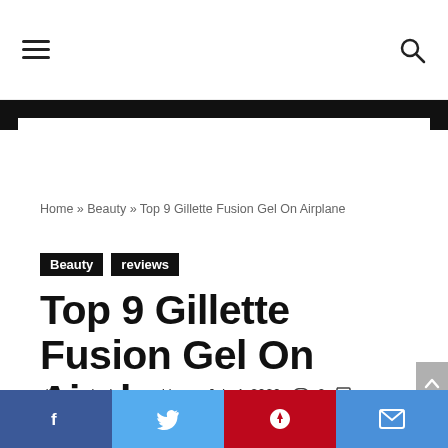≡  🔍
Home » Beauty » Top 9 Gillette Fusion Gel On Airplane
Beauty   reviews
Top 9 Gillette Fusion Gel On Airplane
discoveringhomemaking • July 4, 2020 👁 2 💬
0° − + [progress bar]
f  t  P  ✉